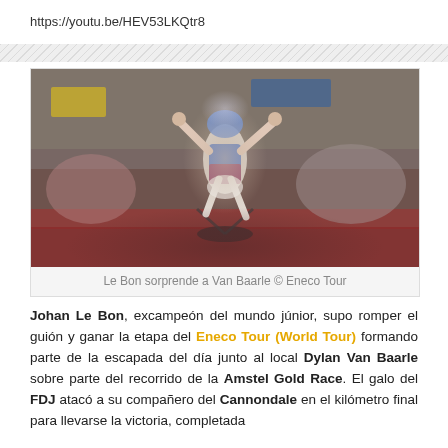https://youtu.be/HEV53LKQtr8
[Figure (photo): Cyclist Johan Le Bon celebrating a stage victory with arms raised, wearing FDJ jersey and blue helmet, crowd in background]
Le Bon sorprende a Van Baarle © Eneco Tour
Johan Le Bon, excampeón del mundo júnior, supo romper el guión y ganar la etapa del Eneco Tour (World Tour) formando parte de la escapada del día junto al local Dylan Van Baarle sobre parte del recorrido de la Amstel Gold Race. El galo del FDJ atacó a su compañero del Cannondale en el kilómetro final para llevarse la victoria, completada